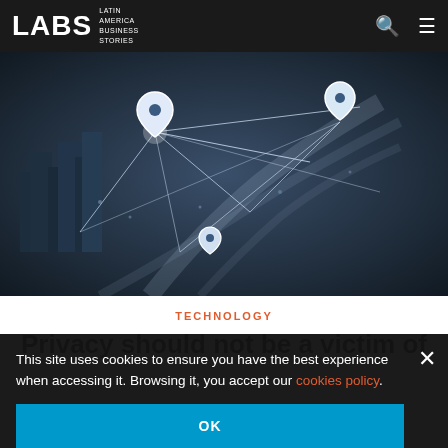LABS LATIN AMERICA BUSINESS STORIES
[Figure (photo): Aerial view of a city at night with glowing network connection lines and location pin markers overlaid, blue-toned]
TECHNOLOGY
Privacy should not be a victim of
This site uses cookies to ensure you have the best experience when accessing it. Browsing it, you accept our cookies policy.
OK